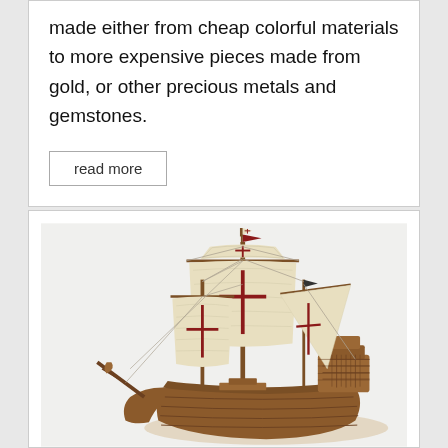made either from cheap colorful materials to more expensive pieces made from gold, or other precious metals and gemstones.
read more
[Figure (photo): A detailed model of a historic sailing ship (caravel or galleon style) with white sails bearing red cross markings, brown wooden hull with decorative carved details, multiple masts with rigging, and flags at the top. The ship appears to be a replica of a Spanish exploration-era vessel, photographed against a light gray/white background.]